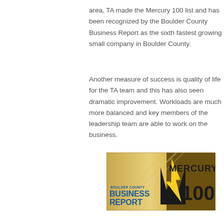area, TA made the Mercury 100 list and has been recognized by the Boulder County Business Report as the sixth fastest growing small company in Boulder County.
Another measure of success is quality of life for the TA team and this has also seen dramatic improvement. Workloads are much more balanced and key members of the leadership team are able to work on the business.
[Figure (logo): Boulder County Business Report Mercury 100 award logo. Gold and black banner with lightning bolt M symbol, text reading BOULDER COUNTY BUSINESS REPORT and MERCURY 100.]